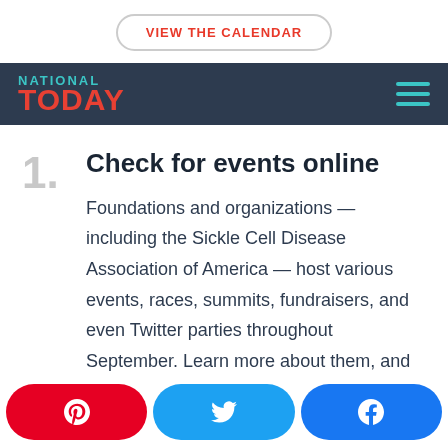VIEW THE CALENDAR
NATIONAL TODAY
1. Check for events online
Foundations and organizations — including the Sickle Cell Disease Association of America — host various events, races, summits, fundraisers, and even Twitter parties throughout September. Learn more about them, and see if you can
Pinterest | Twitter | Facebook social share buttons